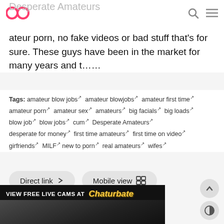Desperate Amateurs (header bar with logo, search, menu)
Desperate Amateurs
ateur porn, no fake videos or bad stuff that's for sure. These guys have been in the market for many years and t……
Tags: amateur blow jobs, amateur blowjobs, amateur first time, amateur porn, amateur sex, amateurs, big facials, big loads, blow job, blow jobs, cum, Desperate Amateurs, desperate for money, first time amateurs, first time on video, girfriends, MILF, new to porn, real amateurs, wifes
Direct link  Mobile view
Connection succeeded: 0.205 Second
[Figure (screenshot): Advertisement banner: VIEW FREE LIVE CAMS AT Chaturbate, with a photo of a woman below]